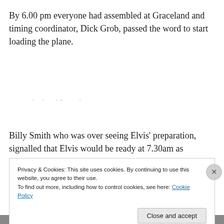By 6.00 pm everyone had assembled at Graceland and timing coordinator, Dick Grob, passed the word to start loading the plane.
Billy Smith who was over seeing Elvis’ preparation, signalled that Elvis would be ready at 7.30am as planned.
Privacy & Cookies: This site uses cookies. By continuing to use this website, you agree to their use.
To find out more, including how to control cookies, see here: Cookie Policy
Close and accept